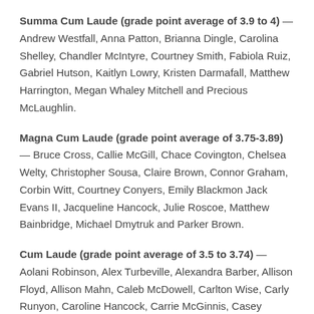Summa Cum Laude (grade point average of 3.9 to 4) — Andrew Westfall, Anna Patton, Brianna Dingle, Carolina Shelley, Chandler McIntyre, Courtney Smith, Fabiola Ruiz, Gabriel Hutson, Kaitlyn Lowry, Kristen Darmafall, Matthew Harrington, Megan Whaley Mitchell and Precious McLaughlin.
Magna Cum Laude (grade point average of 3.75-3.89) — Bruce Cross, Callie McGill, Chace Covington, Chelsea Welty, Christopher Sousa, Claire Brown, Connor Graham, Corbin Witt, Courtney Conyers, Emily Blackmon Jack Evans II, Jacqueline Hancock, Julie Roscoe, Matthew Bainbridge, Michael Dmytruk and Parker Brown.
Cum Laude (grade point average of 3.5 to 3.74) — Aolani Robinson, Alex Turbeville, Alexandra Barber, Allison Floyd, Allison Mahn, Caleb McDowell, Carlton Wise, Carly Runyon, Caroline Hancock, Carrie McGinnis, Casey Evans, Courtney Hayes, Cydney Welch, Daphne Converse, Diamond Gregory, Elizabeth Haywood, Emily Jackson, Emily Nettles, Emily Boulette, Emily Goodrich, Garrett...